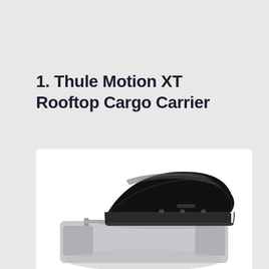1. Thule Motion XT Rooftop Cargo Carrier
[Figure (photo): Thule Motion XT rooftop cargo carrier box mounted on top of a silver SUV, shown in black glossy finish, photographed on white background]